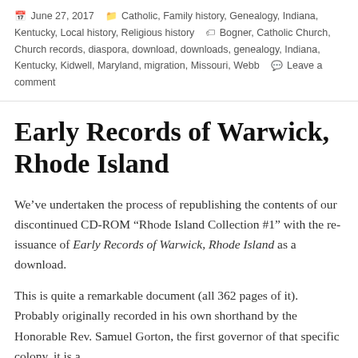June 27, 2017  Catholic, Family history, Genealogy, Indiana, Kentucky, Local history, Religious history  Bogner, Catholic Church, Church records, diaspora, download, downloads, genealogy, Indiana, Kentucky, Kidwell, Maryland, migration, Missouri, Webb  Leave a comment
Early Records of Warwick, Rhode Island
We’ve undertaken the process of republishing the contents of our discontinued CD-ROM “Rhode Island Collection #1” with the re-issuance of Early Records of Warwick, Rhode Island as a download.
This is quite a remarkable document (all 362 pages of it).  Probably originally recorded in his own shorthand by the Honorable Rev. Samuel Gorton, the first governor of that specific colony, it is a